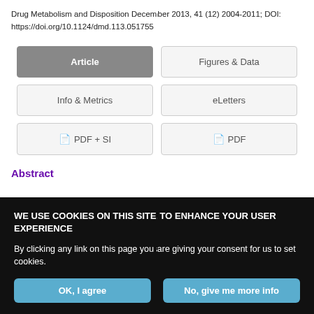Drug Metabolism and Disposition December 2013, 41 (12) 2004-2011; DOI: https://doi.org/10.1124/dmd.113.051755
[Figure (screenshot): Navigation button group with four buttons: Article (active/grey), Figures & Data, Info & Metrics, eLetters, PDF + SI (with PDF icon), PDF (with PDF icon)]
Abstract
WE USE COOKIES ON THIS SITE TO ENHANCE YOUR USER EXPERIENCE
By clicking any link on this page you are giving your consent for us to set cookies.
OK, I agree | No, give me more info